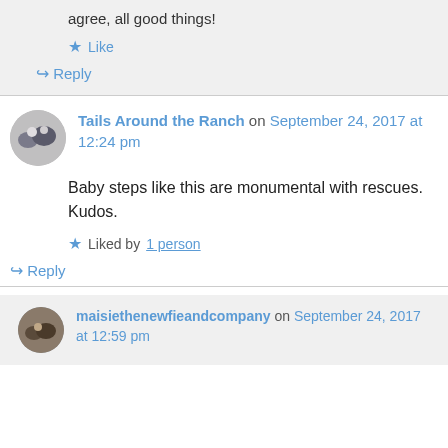agree, all good things!
Like
Reply
Tails Around the Ranch on September 24, 2017 at 12:24 pm
Baby steps like this are monumental with rescues. Kudos.
Liked by 1 person
Reply
maisiethenewfieandcompany on September 24, 2017 at 12:59 pm